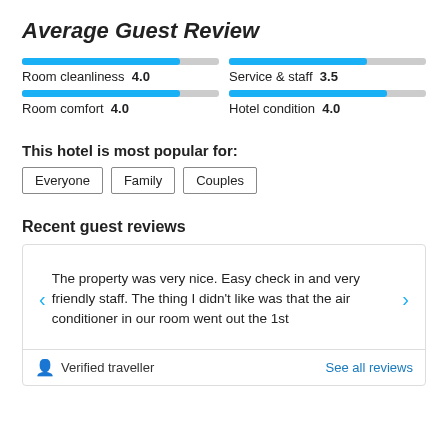Average Guest Review
[Figure (bar-chart): Average Guest Review]
This hotel is most popular for:
Everyone  Family  Couples
Recent guest reviews
The property was very nice. Easy check in and very friendly staff. The thing I didn't like was that the air conditioner in our room went out the 1st
Verified traveller
See all reviews